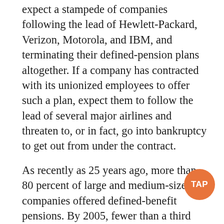expect a stampede of companies following the lead of Hewlett-Packard, Verizon, Motorola, and IBM, and terminating their defined-pension plans altogether. If a company has contracted with its unionized employees to offer such a plan, expect them to follow the lead of several major airlines and threaten to, or in fact, go into bankruptcy to get out from under the contract.
As recently as 25 years ago, more than 80 percent of large and medium-sized companies offered defined-benefit pensions. By 2005, fewer than a third did. What happened?
In an era of fiercely competitive cost-cutting, companies will do what's cheapest. And it's cheaper to switch to what are called "defined contribution" plans, like 401-Ks, where employees